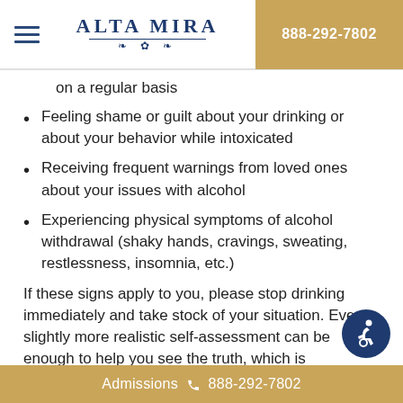ALTA MIRA | 888-292-7802
on a regular basis
Feeling shame or guilt about your drinking or about your behavior while intoxicated
Receiving frequent warnings from loved ones about your issues with alcohol
Experiencing physical symptoms of alcohol withdrawal (shaky hands, cravings, sweating, restlessness, insomnia, etc.)
If these signs apply to you, please stop drinking immediately and take stock of your situation. Even a slightly more realistic self-assessment can be enough to help you see the truth, which is
Admissions 888-292-7802